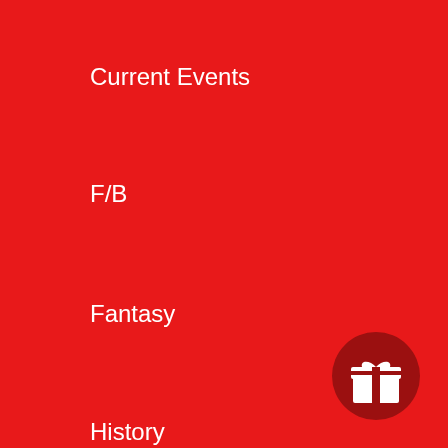Current Events
F/B
Fantasy
History
Humor
Hustling
LGBTQ
420
[Figure (illustration): White gift box icon on dark red circular background, bottom right corner]